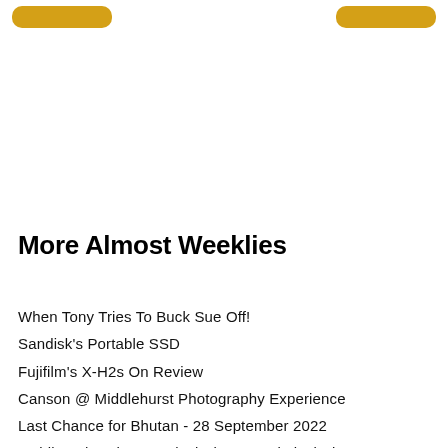[Figure (other): Two gold/yellow rounded button elements partially visible at top left and top right corners of the page]
More Almost Weeklies
When Tony Tries To Buck Sue Off!
Sandisk's Portable SSD
Fujifilm's X-H2s On Review
Canson @ Middlehurst Photography Experience
Last Chance for Bhutan - 28 September 2022
Swirling The Sheep - Clockwise or Anti-clockwise?